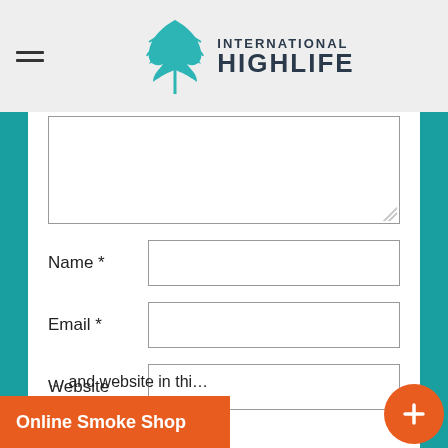[Figure (logo): International Highlife cannabis leaf logo with hamburger menu icon on left]
Name *
Email *
Website
and website in this browser for the next time I comment.
Online Smoke Shop